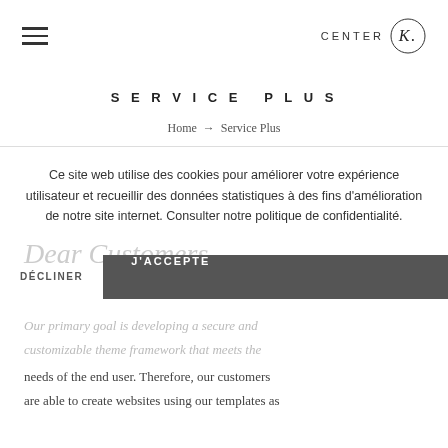[Figure (logo): CENTER K logo with hamburger menu icon on the left and circular K monogram on the right]
SERVICE PLUS
Home → Service Plus
Ce site web utilise des cookies pour améliorer votre expérience utilisateur et recueillir des données statistiques à des fins d'amélioration de notre site internet. Consulter notre politique de confidentialité.
Dear Customers,
DÉCLINER
J'ACCEPTE
Our primary goal is developing a secure and customizable theme framework that meets the needs of the end user. Therefore, our customers are able to create websites using our templates as